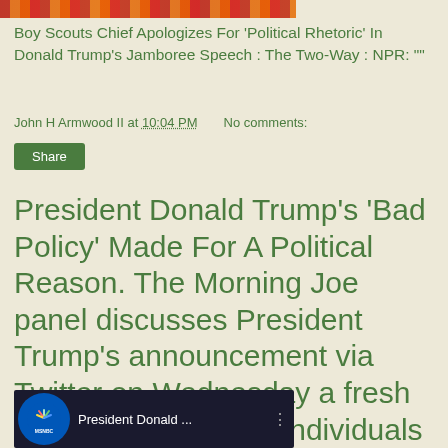[Figure (photo): Partial photo of crowd scene with orange and red colors visible at top of page]
Boy Scouts Chief Apologizes For 'Political Rhetoric' In Donald Trump's Jamboree Speech : The Two-Way : NPR: ""
John H Armwood II at 10:04 PM    No comments:
Share
President Donald Trump's 'Bad Policy' Made For A Political Reason. The Morning Joe panel discusses President Trump's announcement via Twitter on Wednesday a fresh ban on transgender individuals serving in the military. | Morn...
[Figure (screenshot): MSNBC video thumbnail showing President Donald ... with MSNBC peacock logo]